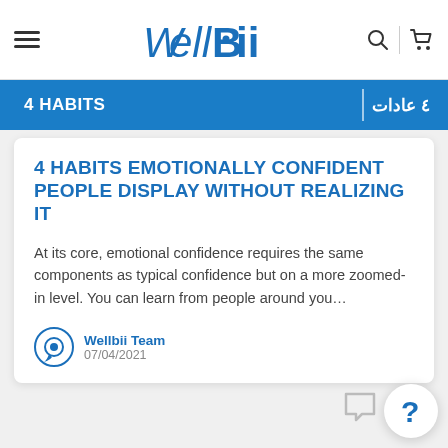WellBii
[Figure (screenshot): Blue banner with '4 HABITS' on left and '٤ عادات' on right in Arabic]
4 HABITS EMOTIONALLY CONFIDENT PEOPLE DISPLAY WITHOUT REALIZING IT
At its core, emotional confidence requires the same components as typical confidence but on a more zoomed-in level. You can learn from people around you...
Wellbii Team
07/04/2021